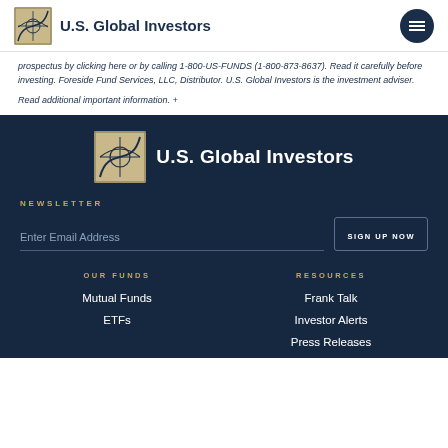U.S. Global Investors
prospectus by clicking here or by calling 1-800-US-FUNDS (1-800-873-8637). Read it carefully before investing. Foreside Fund Services, LLC, Distributor. U.S. Global Investors is the investment adviser.
Read additional important information. +
[Figure (logo): U.S. Global Investors logo centered on dark background]
NEWSLETTER
Enter Email Address
SIGN UP NOW
OUR FUNDS
RESOURCES
Mutual Funds
ETFs
Frank Talk
Investor Alerts
Press Releases